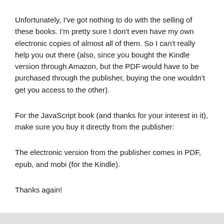Unfortunately, I've got nothing to do with the selling of these books. I'm pretty sure I don't even have my own electronic copies of almost all of them. So I can't really help you out there (also, since you bought the Kindle version through Amazon, but the PDF would have to be purchased through the publisher, buying the one wouldn't get you access to the other).
For the JavaScript book (and thanks for your interest in it), make sure you buy it directly from the publisher:
The electronic version from the publisher comes in PDF, epub, and mobi (for the Kindle).
Thanks again!